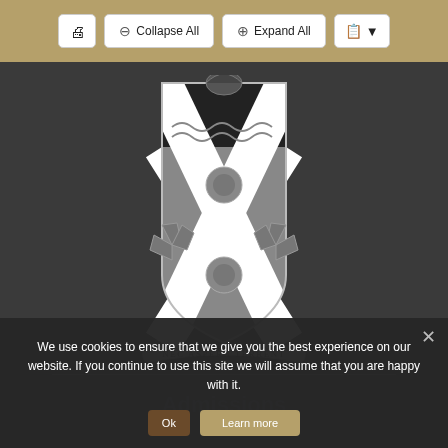[Figure (screenshot): Browser toolbar with print button, Collapse All button, Expand All button, and a list/dropdown icon button on a tan/gold background]
[Figure (logo): University coat of arms / crest featuring a shield with a white saltire cross on grey, two circular rings, a black top section with a crest figure and wavy lines, flanked by two shell/fan motifs, topped by a helmet crest, with a ribbon banner at the bottom reading 'NEC ASPERA TERRENT']
We use cookies to ensure that we give you the best experience on our website. If you continue to use this site we will assume that you are happy with it.